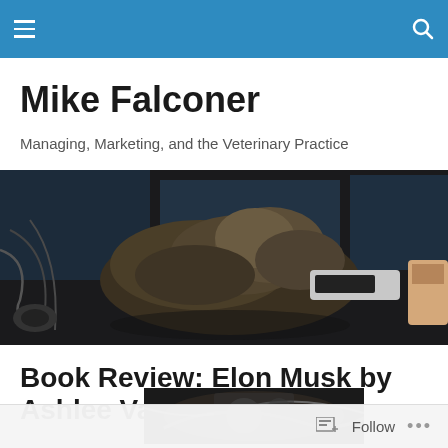Navigation bar with hamburger menu and search icon
Mike Falconer
Managing, Marketing, and the Veterinary Practice
[Figure (photo): A fluffy cat sleeping on a desk surrounded by computer monitors, cables, headphones, and a coffee mug on the right side.]
Book Review: Elon Musk by Ashlee Vance
[Figure (photo): Partial thumbnail of a book cover for Elon Musk by Ashlee Vance, showing dark mechanical/automotive imagery.]
Follow ...